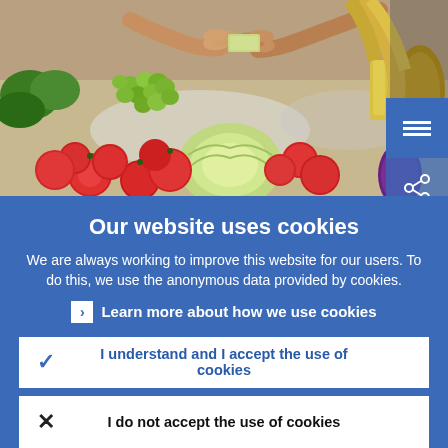[Figure (photo): Outdoor market scene showing two people exchanging money/goods over a table with tomatoes, green grapes, cabbage, and other vegetables. Navigation menu and share icons visible in top right.]
Our website uses cookies
We are always working to improve this website for our users. To do this, we use the anonymous data provided by cookies.
Learn more about how we use cookies
I understand and I accept the use of cookies
I do not accept the use of cookies